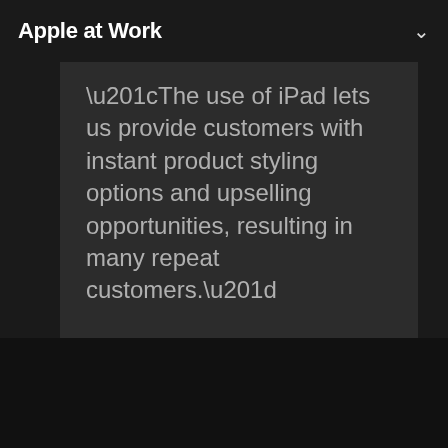Apple at Work
“The use of iPad lets us provide customers with instant product styling options and upselling opportunities, resulting in many repeat customers.”
Joan Qiao
Store manager, Jack and Jones, a brand of Bestseller Fashion Group